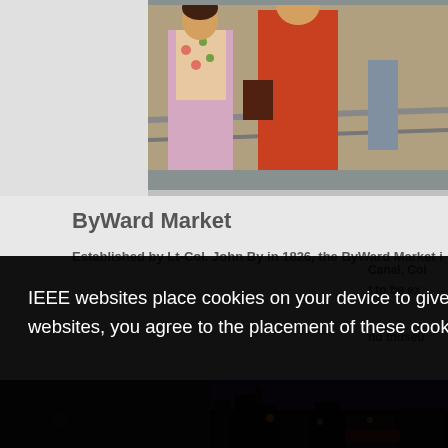[Figure (photo): Two people standing near a railing, partial view cropped at top of page]
ByWard Market
Established by Lt-Col. John By in 1826, the ByWard Market is o... Canal, Col... t to be ex... nd museu...
IEEE websites place cookies on your device to give you the best user experience. By using our websites, you agree to the placement of these cookies. To learn more, read our Privacy Policy.
Accept & Close
[Figure (photo): Night cityscape photo at bottom of page]